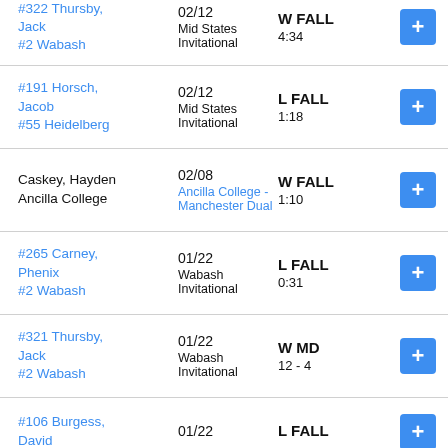#322 Thursby, Jack
#2 Wabash | 02/12 | Mid States Invitational | W FALL | 4:34
#191 Horsch, Jacob
#55 Heidelberg | 02/12 | Mid States Invitational | L FALL | 1:18
Caskey, Hayden
Ancilla College | 02/08 | Ancilla College - Manchester Dual | W FALL | 1:10
#265 Carney, Phenix
#2 Wabash | 01/22 | Wabash Invitational | L FALL | 0:31
#321 Thursby, Jack
#2 Wabash | 01/22 | Wabash Invitational | W MD | 12 - 4
#106 Burgess, David | 01/22 | L FALL